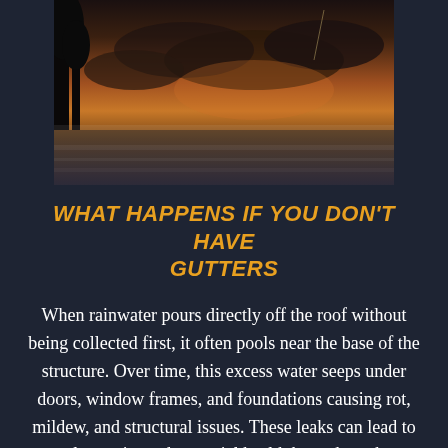[Figure (photo): Dark moody landscape photo showing a stormy sky with orange/amber sunset colors, trees silhouetted at left, water or mist in the foreground, dramatic storm clouds]
WHAT HAPPENS IF YOU DON'T HAVE GUTTERS
When rainwater pours directly off the roof without being collected first, it often pools near the base of the structure. Over time, this excess water seeps under doors, window frames, and foundations causing rot, mildew, and structural issues. These leaks can lead to costly repairs and potential health hazards such as mold and bacteria buildup.